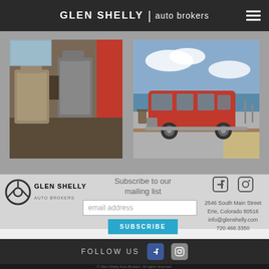GLEN SHELLY | auto brokers
[Figure (photo): Interior view of a van/vehicle showing seats and red door panels]
[Figure (photo): Exterior view of a red Volkswagen Vanagon parked near a beach/waterfront]
[Figure (logo): Glen Shelly Auto Brokers logo with steering wheel icon]
Subscribe to our mailing list
email address
SUBSCRIBE
2546 South Main Street
Erie, Colorado 80516
info@glenshelly.com
720.466.3350
FOLLOW US